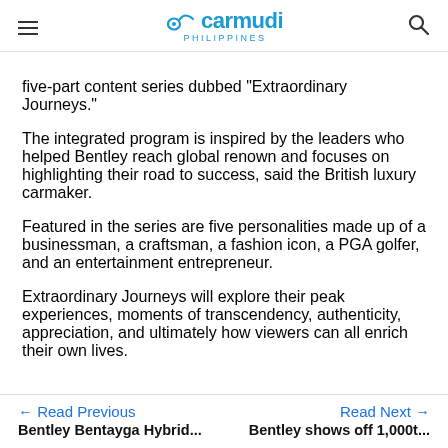carmudi PHILIPPINES
five-part content series dubbed “Extraordinary Journeys.”
The integrated program is inspired by the leaders who helped Bentley reach global renown and focuses on highlighting their road to success, said the British luxury carmaker.
Featured in the series are five personalities made up of a businessman, a craftsman, a fashion icon, a PGA golfer, and an entertainment entrepreneur.
Extraordinary Journeys will explore their peak experiences, moments of transcendency, authenticity, appreciation, and ultimately how viewers can all enrich their own lives.
← Read Previous | Bentley Bentayga Hybrid... | Read Next → | Bentley shows off 1,000t...